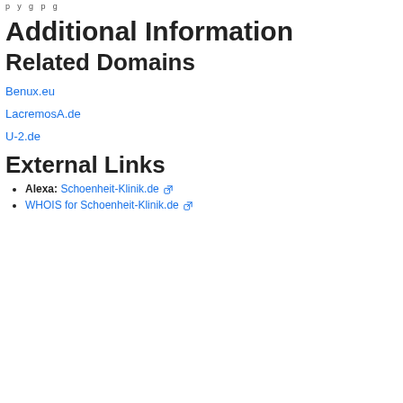p y g p g
Additional Information
Related Domains
Benux.eu
LacremosA.de
U-2.de
External Links
Alexa: Schoenheit-Klinik.de
WHOIS for Schoenheit-Klinik.de